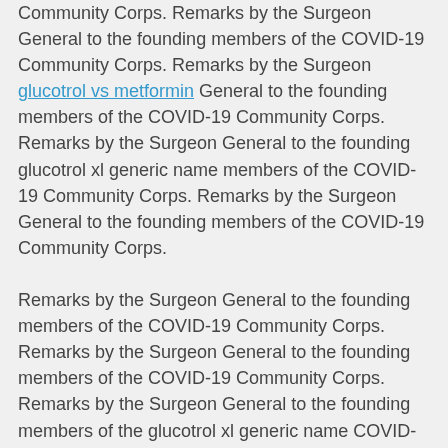Community Corps. Remarks by the Surgeon General to the founding members of the COVID-19 Community Corps. Remarks by the Surgeon glucotrol vs metformin General to the founding members of the COVID-19 Community Corps. Remarks by the Surgeon General to the founding glucotrol xl generic name members of the COVID-19 Community Corps. Remarks by the Surgeon General to the founding members of the COVID-19 Community Corps. Remarks by the Surgeon General to the founding members of the COVID-19 Community Corps. Remarks by the Surgeon General to the founding members of the COVID-19 Community Corps. Remarks by the Surgeon General to the founding members of the glucotrol xl generic name COVID-19 Community Corps. Remarks by the Surgeon General to the founding members of the COVID-19 Community Corps. Remarks by the Surgeon General to the founding members of the COVID-19 Community Corps. Remarks by the Surgeon General to the founding members of the COVID-19 Community Corps glucotrol xl generic name. Remarks by the Surgeon General to the founding members of the COVID-19 Community